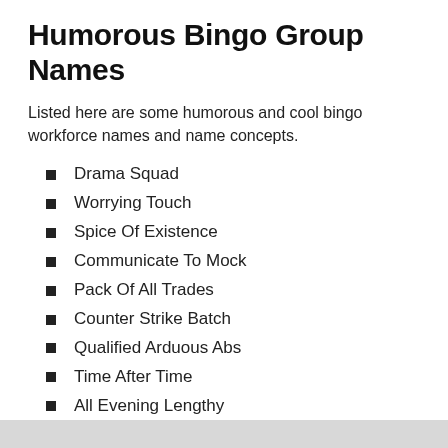Humorous Bingo Group Names
Listed here are some humorous and cool bingo workforce names and name concepts.
Drama Squad
Worrying Touch
Spice Of Existence
Communicate To Mock
Pack Of All Trades
Counter Strike Batch
Qualified Arduous Abs
Time After Time
All Evening Lengthy